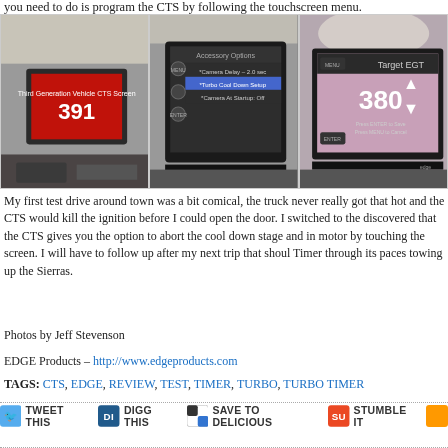you need to do is program the CTS by following the touchscreen menu.
[Figure (photo): Three photos of a vehicle dashboard/center console showing an aftermarket touchscreen display (Edge Products CTS). Left photo shows a red screen with number 391. Center photo shows Accessory Options menu including Turbo Cool Down Setup. Right photo shows Target EGT screen with value 380.]
My first test drive around town was a bit comical, the truck never really got that hot and the CTS would kill the ignition before I could open the door. I switched to the discovered that the CTS gives you the option to abort the cool down stage and in motor by touching the screen. I will have to follow up after my next trip that shoul Timer through its paces towing up the Sierras.
Photos by Jeff Stevenson
EDGE Products – http://www.edgeproducts.com
TAGS: CTS, EDGE, REVIEW, TEST, TIMER, TURBO, TURBO TIMER
[Figure (infographic): Social sharing buttons: Tweet This, Digg This, Save to Delicious, Stumble It]